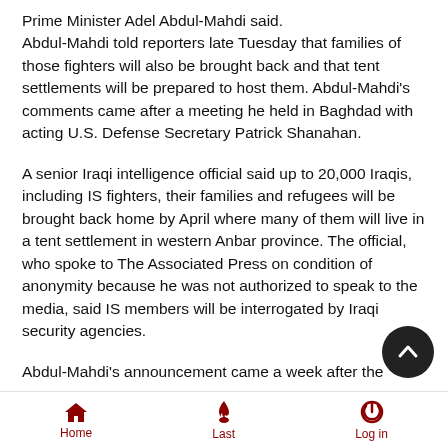Prime Minister Adel Abdul-Mahdi said. Abdul-Mahdi told reporters late Tuesday that families of those fighters will also be brought back and that tent settlements will be prepared to host them. Abdul-Mahdi's comments came after a meeting he held in Baghdad with acting U.S. Defense Secretary Patrick Shanahan.
A senior Iraqi intelligence official said up to 20,000 Iraqis, including IS fighters, their families and refugees will be brought back home by April where many of them will live in a tent settlement in western Anbar province. The official, who spoke to The Associated Press on condition of anonymity because he was not authorized to speak to the media, said IS members will be interrogated by Iraqi security agencies.
Abdul-Mahdi's announcement came a week after the
Home  Last  Log in